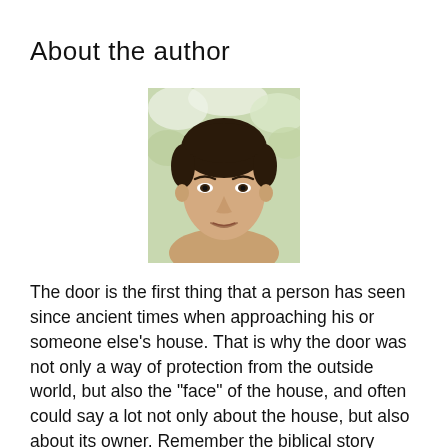About the author
[Figure (photo): Headshot of a young man with dark hair, smiling slightly, against a blurred outdoor background with green and white tones.]
The door is the first thing that a person has seen since ancient times when approaching his or someone else’s house. That is why the door was not only a way of protection from the outside world, but also the “face” of the house, and often could say a lot not only about the house, but also about its owner. Remember the biblical story about the marks on the doors of houses, thanks to which the